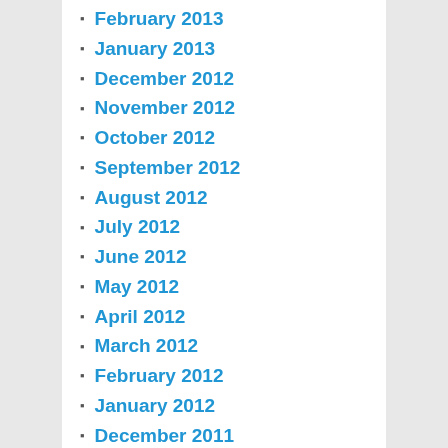February 2013
January 2013
December 2012
November 2012
October 2012
September 2012
August 2012
July 2012
June 2012
May 2012
April 2012
March 2012
February 2012
January 2012
December 2011
November 2011
October 2011
March 2011
February 2011
July 2010
June 2010